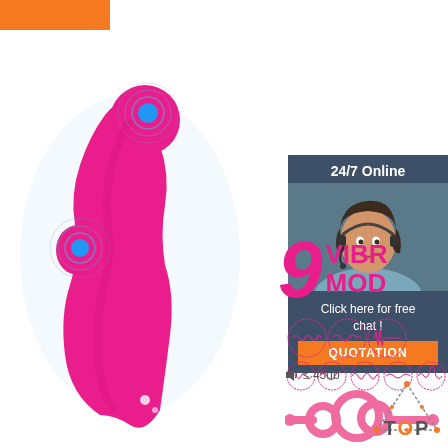[Figure (photo): Orange rectangle brand banner at top left]
[Figure (photo): Pink adult vibrator product photo on white/light blue background, showing curved pink silicone device with blue vibration indicators]
[Figure (infographic): Customer service chat box with woman wearing headset, '24/7 Online' header, 'Click here for free chat!' text, and orange QUOTATION button]
9 VIBRATION MODES
[Figure (infographic): Nine circular icons showing different vibration wave patterns arranged in two rows]
≤ 45db
[Figure (illustration): Pink cock ring toy illustration at bottom center]
[Figure (infographic): TOP badge with dotted triangle design at bottom right, O letter in orange]